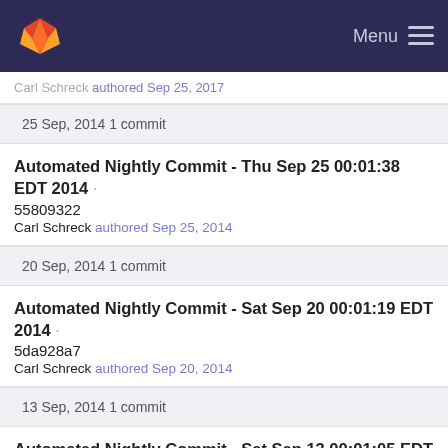Menu
Carl Schreck authored Sep 25, 2017
25 Sep, 2014 1 commit
Automated Nightly Commit - Thu Sep 25 00:01:38 EDT 2014 · 55809322
Carl Schreck authored Sep 25, 2014
20 Sep, 2014 1 commit
Automated Nightly Commit - Sat Sep 20 00:01:19 EDT 2014 · 5da928a7
Carl Schreck authored Sep 20, 2014
13 Sep, 2014 1 commit
Automated Nightly Commit - Sat Sep 13 00:01:05 EDT 2014 · 774a6060
Carl Schreck authored Sep 13, 2014
27 Aug, 2014 1 commit